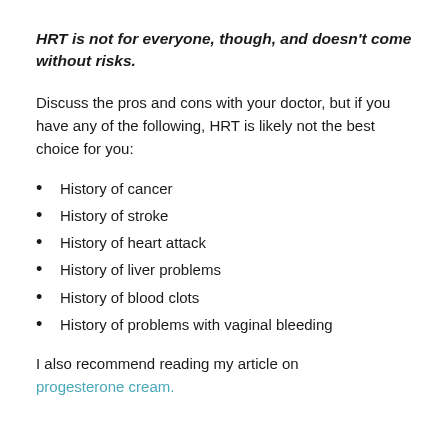HRT is not for everyone, though, and doesn't come without risks.
Discuss the pros and cons with your doctor, but if you have any of the following, HRT is likely not the best choice for you:
History of cancer
History of stroke
History of heart attack
History of liver problems
History of blood clots
History of problems with vaginal bleeding
I also recommend reading my article on progesterone cream.